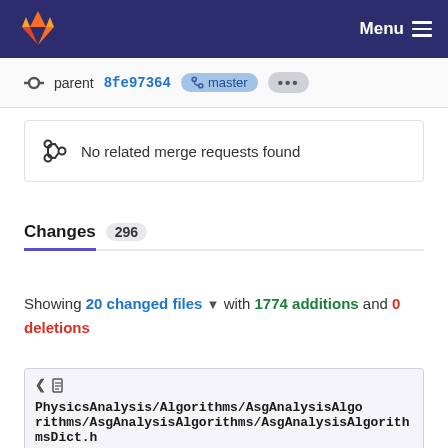Menu
parent 8fe97364 master ...
No related merge requests found
Changes 296
Showing 20 changed files with 1774 additions and 0 deletions
PhysicsAnalysis/Algorithms/AsgAnalysisAlgorithms/AsgAnalysisAlgorithms/AsgAnalysisAlgorithmsDict.h 0 → 100644
+ /*
+   Copyright (C) 2002-2020 CERN for the benefit of the ATLAS